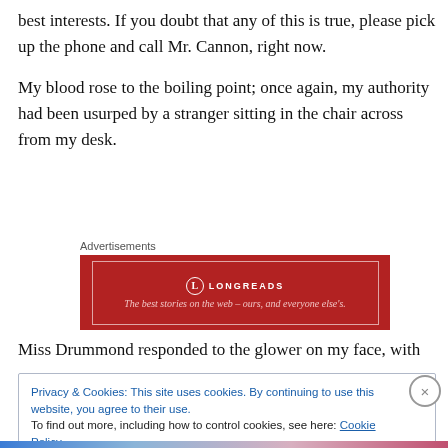best interests. If you doubt that any of this is true, please pick up the phone and call Mr. Cannon, right now.
My blood rose to the boiling point; once again, my authority had been usurped by a stranger sitting in the chair across from my desk.
[Figure (other): Longreads advertisement banner: red background with white border, Longreads logo and tagline 'The best stories on the web – ours, and everyone else's.']
Miss Drummond responded to the glower on my face, with
Privacy & Cookies: This site uses cookies. By continuing to use this website, you agree to their use.
To find out more, including how to control cookies, see here: Cookie Policy